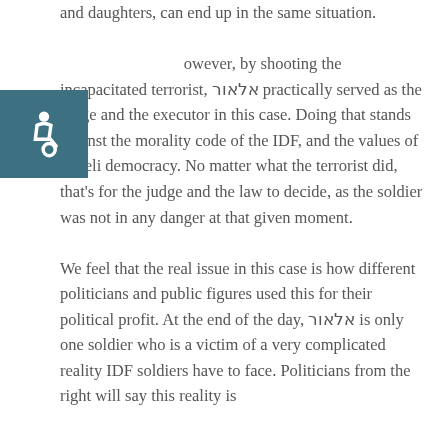and daughters, can end up in the same situation.

However, by shooting the incapacitated terrorist, אלאור practically served as the judge and the executor in this case. Doing that stands against the morality code of the IDF, and the values of Israeli democracy. No matter what the terrorist did, that's for the judge and the law to decide, as the soldier was not in any danger at that given moment.

We feel that the real issue in this case is how different politicians and public figures used this for their political profit. At the end of the day, אלאור is only one soldier who is a victim of a very complicated reality IDF soldiers have to face. Politicians from the right will say this reality is